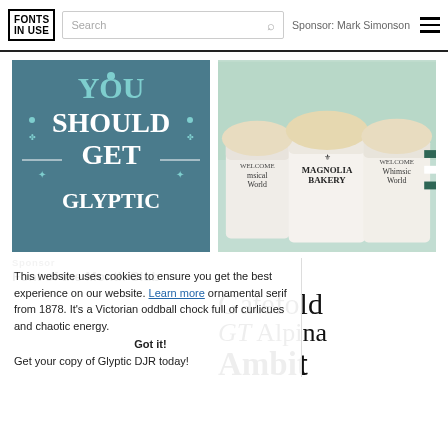FONTS IN USE | Search | Sponsor: Mark Simonson
[Figure (illustration): Dark teal background with decorative serif text reading YOU SHOULD GET GLYPTIC in white and cyan/teal colors with ornamental flourishes]
Sponsor
Font of the Month Club
This website uses cookies to ensure you get the best experience on our website. Learn more ornamental serif from 1878. It's a Victorian oddball chock full of curlicues and chaotic energy. Got it! Get your copy of Glyptic DJR today!
[Figure (photo): Photo of Magnolia Bakery cups with whipped cream toppings, labeled Whimsical World and Magnolia Bakery]
Gatefold
GT Alpina
Ambit